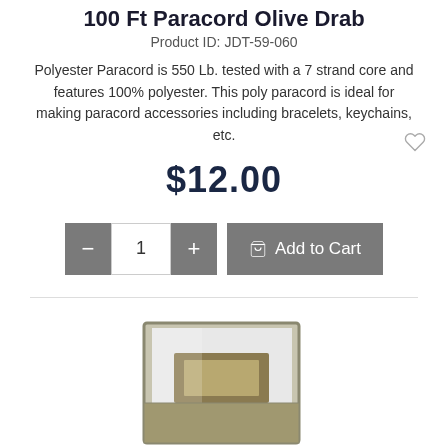100 Ft Paracord Olive Drab
Product ID: JDT-59-060
Polyester Paracord is 550 Lb. tested with a 7 strand core and features 100% polyester. This poly paracord is ideal for making paracord accessories including bracelets, keychains, etc.
$12.00
[Figure (screenshot): E-commerce add to cart control with minus button, quantity field showing 1, plus button, and Add to Cart button]
[Figure (photo): Product photo of olive drab paracord spool in packaging box, partially visible at bottom of page]